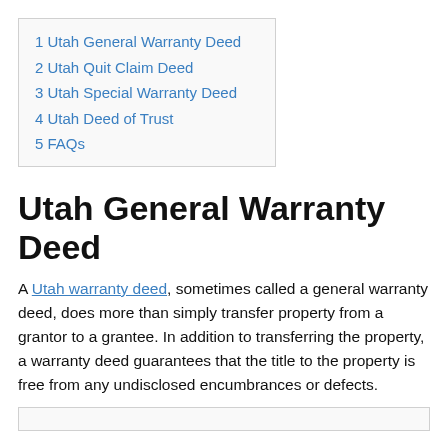1 Utah General Warranty Deed
2 Utah Quit Claim Deed
3 Utah Special Warranty Deed
4 Utah Deed of Trust
5 FAQs
Utah General Warranty Deed
A Utah warranty deed, sometimes called a general warranty deed, does more than simply transfer property from a grantor to a grantee. In addition to transferring the property, a warranty deed guarantees that the title to the property is free from any undisclosed encumbrances or defects.